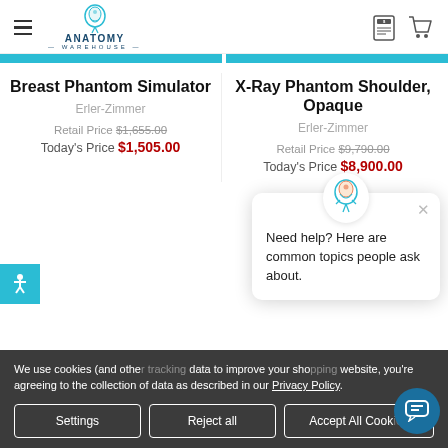Anatomy Warehouse
Breast Phantom Simulator — Erler-Zimmer — Retail Price $1,655.00 — Today's Price $1,505.00
X-Ray Phantom Shoulder, Opaque — Erler-Zimmer — Retail Price $9,790.00 — Today's Price $8,900.00
We use cookies (and other data to improve your shopping experience. By using this website, you're agreeing to the collection of data as described in our Privacy Policy.
Need help? Here are common topics people ask about.